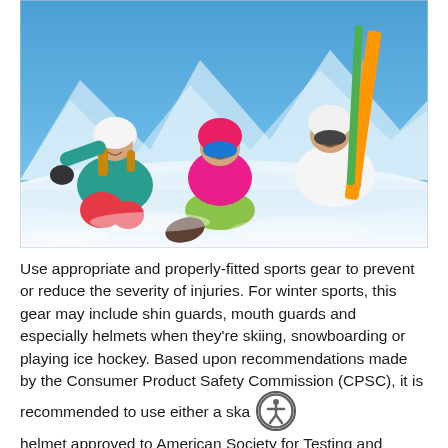[Figure (photo): Three people (two adults and a child) sitting in snow on a ski slope, all wearing helmets, goggles, and colorful winter sports gear. The child in the center wears a pink helmet and pink/green outfit. The adults are wearing teal/red and white jackets. One adult holds skis. Blue sky and snowy mountains in the background.]
Use appropriate and properly-fitted sports gear to prevent or reduce the severity of injuries. For winter sports, this gear may include shin guards, mouth guards and especially helmets when they're skiing, snowboarding or playing ice hockey. Based upon recommendations made by the Consumer Product Safety Commission (CPSC), it is recommended to use either a ska helmet approved to American Society for Testing and Materi ASTM, F1492 or a ski/snowboard helmet approved to either ASTM F2040 or EN1077. While we are unaware of any sledding specific